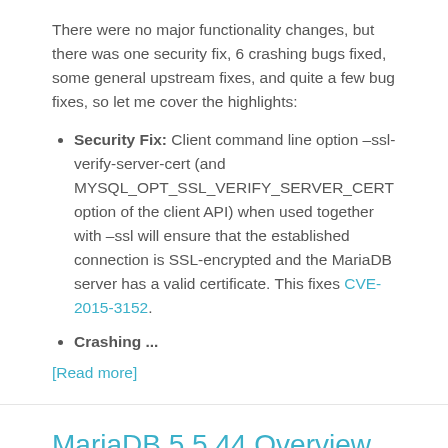There were no major functionality changes, but there was one security fix, 6 crashing bugs fixed, some general upstream fixes, and quite a few bug fixes, so let me cover the highlights:
Security Fix: Client command line option –ssl-verify-server-cert (and MYSQL_OPT_SSL_VERIFY_SERVER_CERT option of the client API) when used together with –ssl will ensure that the established connection is SSL-encrypted and the MariaDB server has a valid certificate. This fixes CVE-2015-3152.
Crashing ...
[Read more]
MariaDB 5.5.44 Overview and Highlights